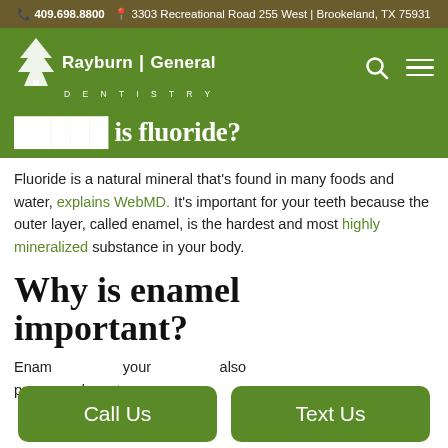📞 409.698.8800  📍 3303 Recreational Road 255 West | Brookeland, TX 75931
[Figure (logo): Rayburn General Dentistry logo with pine tree on green background, search icon and hamburger menu]
What is fluoride?
Fluoride is a natural mineral that's found in many foods and water, explains WebMD. It's important for your teeth because the outer layer, called enamel, is the hardest and most highly mineralized substance in your body.
Why is enamel important?
Enamel protects your teeth and also prevents make nt